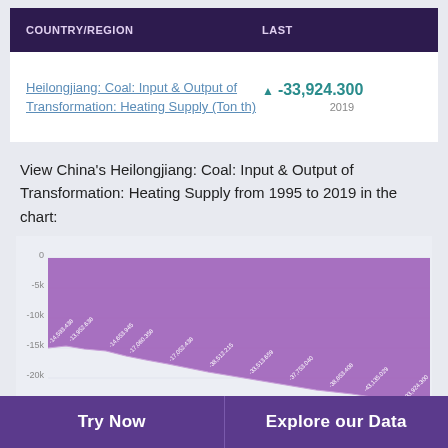| COUNTRY/REGION | LAST |
| --- | --- |
| Heilongjiang: Coal: Input & Output of Transformation: Heating Supply (Ton th) | ▲ -33,924.300
2019 |
View China's Heilongjiang: Coal: Input & Output of Transformation: Heating Supply from 1995 to 2019 in the chart:
[Figure (area-chart): Area chart showing negative values trending downward from approximately -15k in 1995 to approximately -25k in 2019, filled with purple color. Y-axis shows values from 0 to -25k. Data labels visible along the area line.]
Try Now   Explore our Data